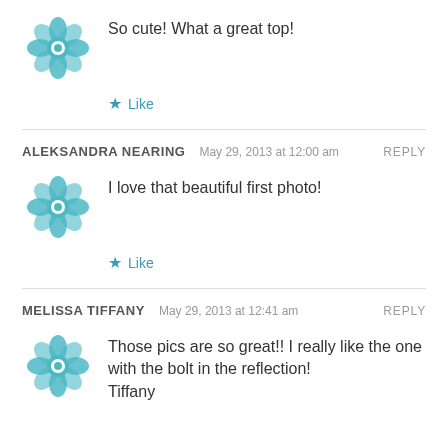[Figure (illustration): Teal geometric avatar icon]
So cute! What a great top!
★ Like
ALEKSANDRA NEARING   May 29, 2013 at 12:00 am   REPLY
[Figure (illustration): Teal geometric avatar icon]
I love that beautiful first photo!
★ Like
MELISSA TIFFANY   May 29, 2013 at 12:41 am   REPLY
[Figure (illustration): Teal geometric avatar icon]
Those pics are so great!! I really like the one with the bolt in the reflection!
Tiffany